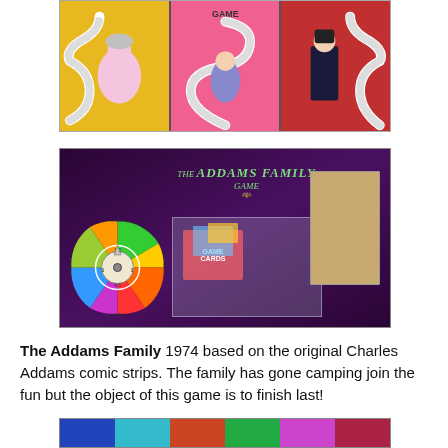[Figure (photo): Top image: The Addams Family board game box top showing a colorful snaky path game board divided into three panels - yellow, pink, and red sections with illustrated characters and a winding white path with spaces.]
[Figure (photo): Middle image: The Addams Family Game box interior/bottom showing a purple/dark background with the game title in green lettering, a colorful spinner wheel on the left, a clear plastic bag with game pieces in the center, and a cardboard insert on the right.]
The Addams Family 1974 based on the original Charles Addams comic strips. The family has gone camping join the fun but the object of this game is to finish last!
[Figure (photo): Bottom partial image: A colorful board game box with multiple colored panels visible at the very bottom of the page.]